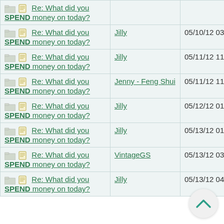| Topic | Author | Date |
| --- | --- | --- |
| Re: What did you SPEND money on today? |  |  |
| Re: What did you SPEND money on today? | Jilly | 05/10/12 03:36 AM |
| Re: What did you SPEND money on today? | Jilly | 05/11/12 11:37 PM |
| Re: What did you SPEND money on today? | Jenny - Feng Shui | 05/11/12 11:53 PM |
| Re: What did you SPEND money on today? | Jilly | 05/12/12 01:14 AM |
| Re: What did you SPEND money on today? | Jilly | 05/13/12 01:41 AM |
| Re: What did you SPEND money on today? | VintageGS | 05/13/12 03:28 AM |
| Re: What did you SPEND money on today? | Jilly | 05/13/12 04:46 AM |